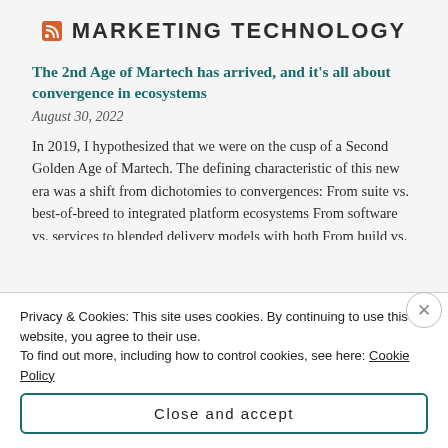MARKETING TECHNOLOGY
The 2nd Age of Martech has arrived, and it's all about convergence in ecosystems
August 30, 2022
In 2019, I hypothesized that we were on the cusp of a Second Golden Age of Martech. The defining characteristic of this new era was a shift from dichotomies to convergences: From suite vs. best-of-breed to integrated platform ecosystems From software vs. services to blended delivery models with both From build vs. buy to customization on top of commercial pl[...]
Privacy & Cookies: This site uses cookies. By continuing to use this website, you agree to their use.
To find out more, including how to control cookies, see here: Cookie Policy
Close and accept